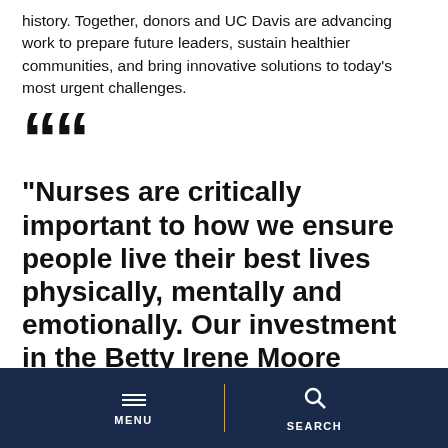history. Together, donors and UC Davis are advancing work to prepare future leaders, sustain healthier communities, and bring innovative solutions to today's most urgent challenges.
““
"Nurses are critically important to how we ensure people live their best lives physically, mentally and emotionally. Our investment in the Betty Irene Moore School of Nursing can help grow nurse leaders. This endowed
MENU | SEARCH